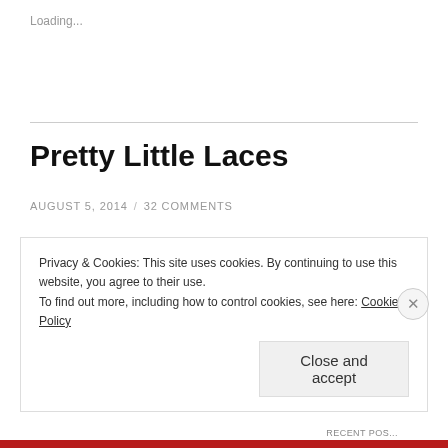Loading...
Pretty Little Laces
AUGUST 5, 2014 / 32 COMMENTS
From one season to another, the cusp of summer to the dawn of fall, fashion trends quickly come into the scene as they quickly go. From sleeveless, sport-inspired
Privacy & Cookies: This site uses cookies. By continuing to use this website, you agree to their use.
To find out more, including how to control cookies, see here: Cookie Policy
Close and accept